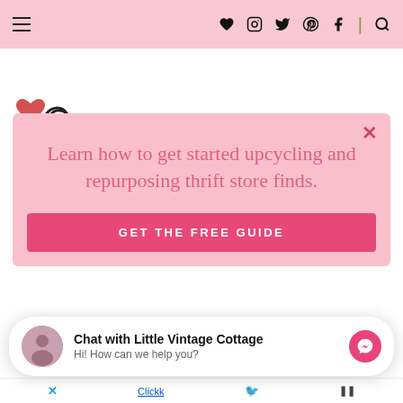Navigation bar with hamburger menu and social icons: heart, Instagram, Twitter, Pinterest, Facebook, separator, search
[Figure (logo): Partial logo at top left — red and black heart/script graphic partially visible]
Learn how to get started upcycling and repurposing thrift store finds.
GET THE FREE GUIDE
Chat with Little Vintage Cottage
Hi! How can we help you?
Bottom ad bar with X, Clickk link, Twitter bird, and metrics icon